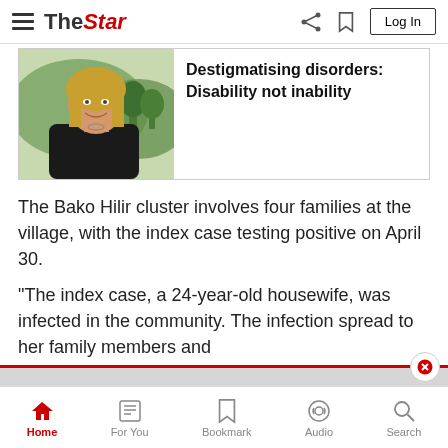The Star
[Figure (photo): Portrait photo of a smiling blonde woman outdoors with green trees and mountains in background]
Destigmatising disorders: Disability not inability
The Bako Hilir cluster involves four families at the village, with the index case testing positive on April 30.
"The index case, a 24-year-old housewife, was infected in the community. The infection spread to her family members and
50% off our Premium Plans (no ads).  Use discount code:MERDEKA.  >
Home   For You   Bookmark   Audio   Search